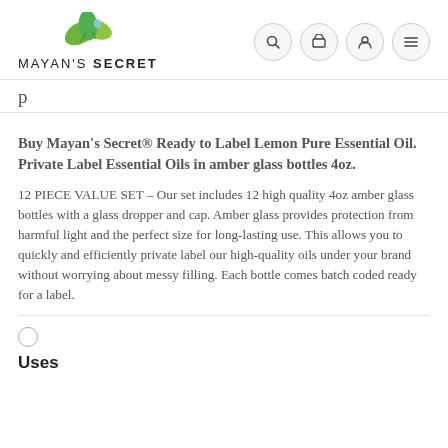MAYAN'S SECRET
Buy Mayan's Secret® Ready to Label Lemon Pure Essential Oil. Private Label Essential Oils in amber glass bottles 4oz.
12 PIECE VALUE SET – Our set includes 12 high quality 4oz amber glass bottles with a glass dropper and cap. Amber glass provides protection from harmful light and the perfect size for long-lasting use. This allows you to quickly and efficiently private label our high-quality oils under your brand without worrying about messy filling. Each bottle comes batch coded ready for a label.
Uses